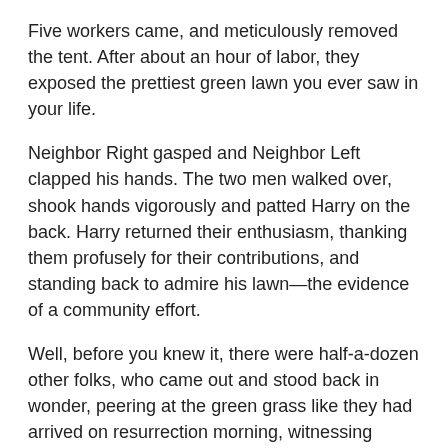Five workers came, and meticulously removed the tent. After about an hour of labor, they exposed the prettiest green lawn you ever saw in your life.
Neighbor Right gasped and Neighbor Left clapped his hands. The two men walked over, shook hands vigorously and patted Harry on the back. Harry returned their enthusiasm, thanking them profusely for their contributions, and standing back to admire his lawn—the evidence of a community effort.
Well, before you knew it, there were half-a-dozen other folks, who came out and stood back in wonder, peering at the green grass like they had arrived on resurrection morning, witnessing Jesus himself walking out of the grave.